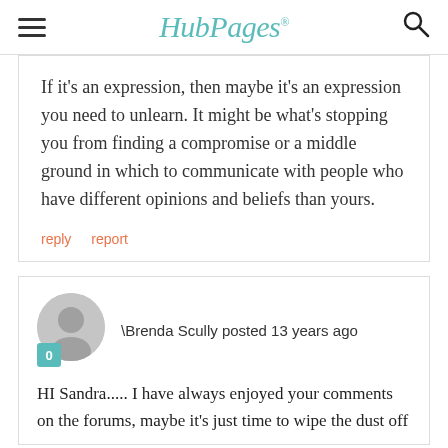HubPages
If it's an expression, then maybe it's an expression you need to unlearn. It might be what's stopping you from finding a compromise or a middle ground in which to communicate with people who have different opinions and beliefs than yours.
reply   report
\Brenda Scully posted 13 years ago
HI Sandra..... I have always enjoyed your comments on the forums, maybe it's just time to wipe the dust off